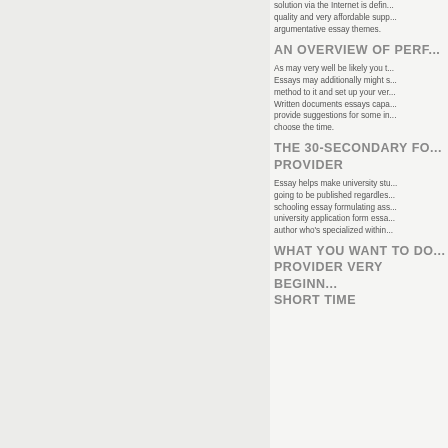solution via the Internet is defin... quality and very affordable supp... argumentative essay themes.
AN OVERVIEW OF PERF...
As may very well be likely you t... Essays may additionally might s... method to it and set up your ver... Written documents essays capa... provide suggestions for some in... choose the time.
THE 30-SECONDARY FO... PROVIDER
Essay helps make university stu... going to be published regardles... schooling essay formulating ass... university application form essa... author who's specialized within...
WHAT YOU WANT TO DO... PROVIDER VERY BEGINN... SHORT TIME